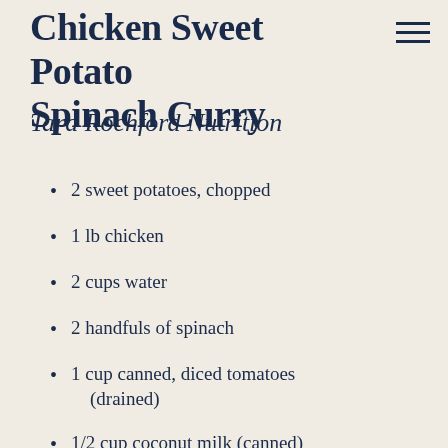Chicken Sweet Potato Spinach Curry
Tara Rochford Nutrition
2 sweet potatoes, chopped
1 lb chicken
2 cups water
2 handfuls of spinach
1 cup canned, diced tomatoes (drained)
1/2 cup coconut milk (canned)
1 onion
1 clove garlic, minced
3 Tbsp coconut oil